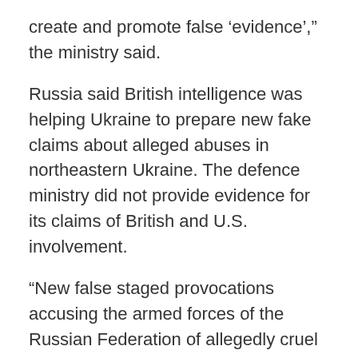create and promote false ‘evidence’,” the ministry said.
Russia said British intelligence was helping Ukraine to prepare new fake claims about alleged abuses in northeastern Ukraine. The defence ministry did not provide evidence for its claims of British and U.S. involvement.
“New false staged provocations accusing the armed forces of the Russian Federation of allegedly cruel treatment of the population of Ukraine are being prepared by the Kiev regime under the leadership of British special services on the territory of the Sumy region,” the ministry said.
Russia said Western journalists had been